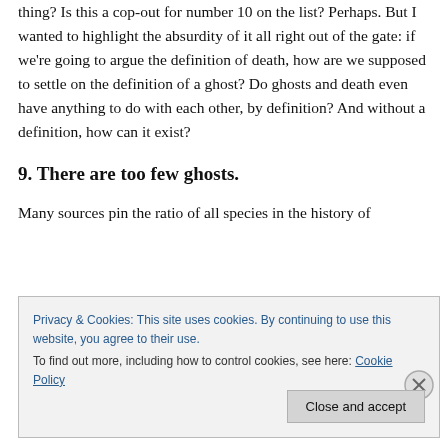thing? Is this a cop-out for number 10 on the list? Perhaps. But I wanted to highlight the absurdity of it all right out of the gate: if we're going to argue the definition of death, how are we supposed to settle on the definition of a ghost? Do ghosts and death even have anything to do with each other, by definition? And without a definition, how can it exist?
9. There are too few ghosts.
Many sources pin the ratio of all species in the history of
Privacy & Cookies: This site uses cookies. By continuing to use this website, you agree to their use.
To find out more, including how to control cookies, see here: Cookie Policy